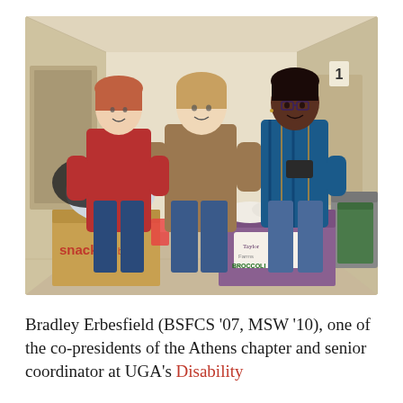[Figure (photo): Three women smiling and posing together in a corridor/hallway, standing behind boxes and bags of donated goods. One woman on the left wears a red top, the middle woman wears a tan/brown top, and the woman on the right wears a blue and black striped wrap. Boxes visible include a Snack box and a Taylor Farms Broccoli box, and Walmart bags. Institutional hallway setting.]
Bradley Erbesfield (BSFCS '07, MSW '10), one of the co-presidents of the Athens chapter and senior coordinator at UGA's Disability